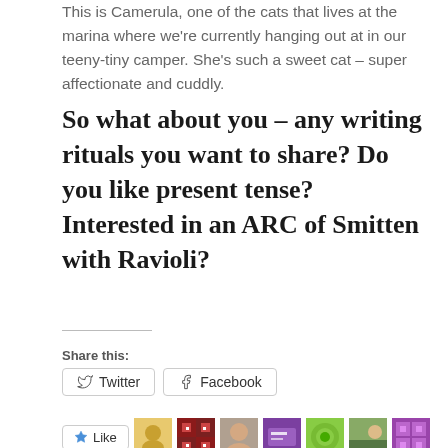This is Camerula, one of the cats that lives at the marina where we're currently hanging out at in our teeny-tiny camper. She's such a sweet cat – super affectionate and cuddly.
So what about you – any writing rituals you want to share? Do you like present tense? Interested in an ARC of Smitten with Ravioli?
Share this:
Twitter  Facebook
Like  7 bloggers like this.